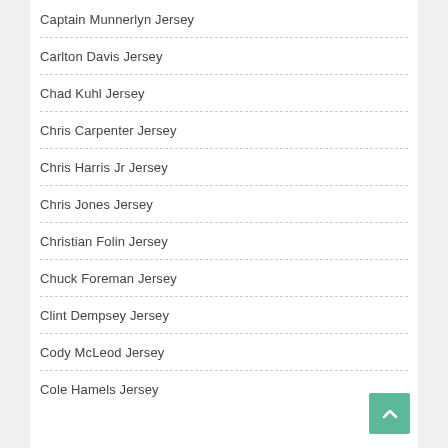Captain Munnerlyn Jersey
Carlton Davis Jersey
Chad Kuhl Jersey
Chris Carpenter Jersey
Chris Harris Jr Jersey
Chris Jones Jersey
Christian Folin Jersey
Chuck Foreman Jersey
Clint Dempsey Jersey
Cody McLeod Jersey
Cole Hamels Jersey